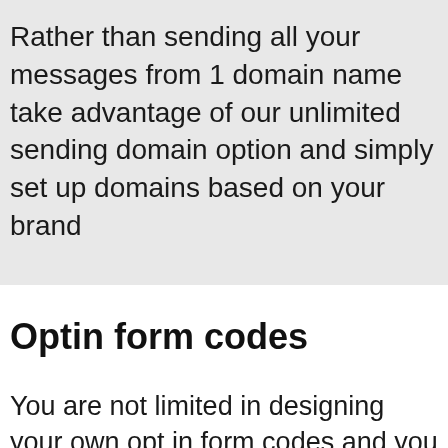Rather than sending all your messages from 1 domain name take advantage of our unlimited sending domain option and simply set up domains based on your brand
Optin form codes
You are not limited in designing your own opt in form codes and you can customize